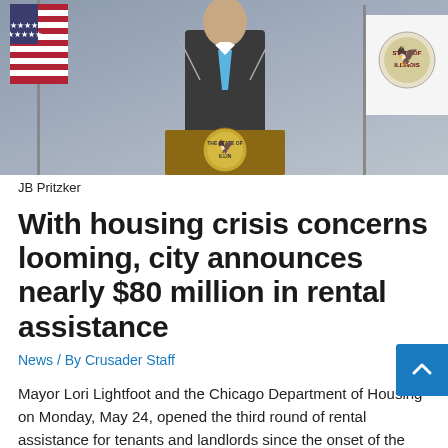[Figure (photo): JB Pritzker standing at a podium with the Illinois state seal, with US flag on the left and Illinois state flag on the right]
JB Pritzker
With housing crisis concerns looming, city announces nearly $80 million in rental assistance
News / By Crusader Staff
Mayor Lori Lightfoot and the Chicago Department of Housing on Monday, May 24, opened the third round of rental assistance for tenants and landlords since the onset of the COVID-19 pande...
Tenants who are behind or are struggling to pay their rent during...